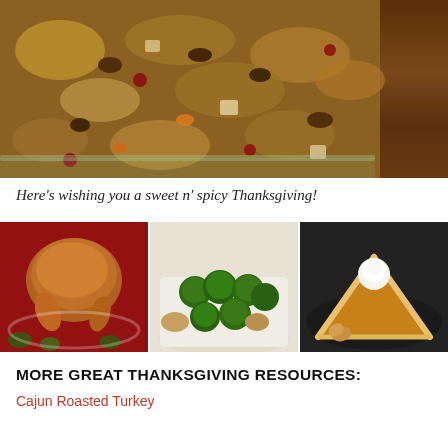[Figure (photo): Close-up overhead photo of a casserole dish filled with cornbread stuffing/dressing with pecans, cranberries, celery, and carrots, on a wooden table]
Here’s wishing you a sweet n’ spicy Thanksgiving!
[Figure (photo): Three food photos side by side: left is a roasted Cajun turkey on a platter with brussels sprouts garnish on a red background; center is a bowl of roasted brussels sprouts with mushrooms; right is a slice of pumpkin pie with whipped cream on a dark plate]
MORE GREAT THANKSGIVING RESOURCES:
Cajun Roasted Turkey